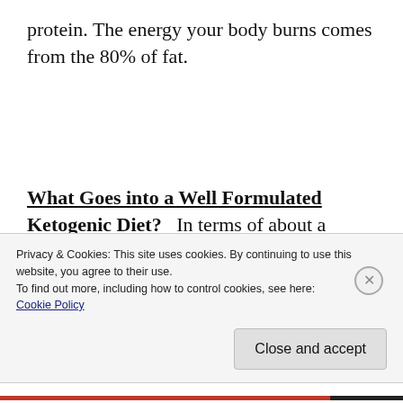protein. The energy your body burns comes from the 80% of fat.
What Goes into a Well Formulated Ketogenic Diet?
In terms of about a 2,000-calorie per day intake, the fat is eaten to satiety rather than counting calories. When you take the carbs
Privacy & Cookies: This site uses cookies. By continuing to use this website, you agree to their use.
To find out more, including how to control cookies, see here:
Cookie Policy
Close and accept